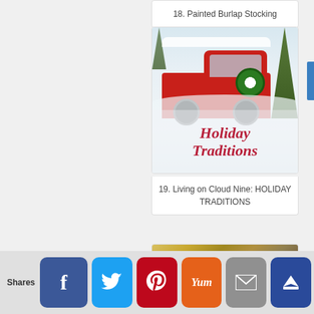18. Painted Burlap Stocking
[Figure (photo): Photo of a vintage red truck in a snowy winter scene with a Christmas wreath, with 'Holiday Traditions' text overlay in red italic script]
19. Living on Cloud Nine: HOLIDAY TRADITIONS
[Figure (photo): Partial photo of lemon/citrus slices, blurred warm tones]
Shares
[Figure (infographic): Social sharing buttons: Facebook, Twitter, Pinterest, Yummly, Email, Crown/save]